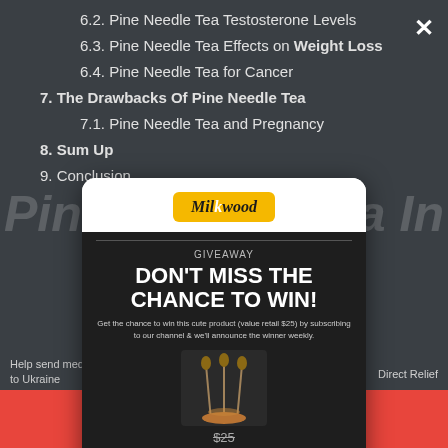6.2. Pine Needle Tea Testosterone Levels
6.3. Pine Needle Tea Effects on Weight Loss
6.4. Pine Needle Tea for Cancer
7. The Drawbacks Of Pine Needle Tea
7.1. Pine Needle Tea and Pregnancy
8. Sum Up
9. Conclusion
[Figure (screenshot): A giveaway popup modal overlay on a webpage. Shows Milkwood logo at top, dark section with 'GIVEAWAY' label, 'DON'T MISS THE CHANCE TO WIN!' headline, description text about subscribing to win a $25 product for free, product image of decorative sticks/picks, with $25 struck through and FREE below it.]
Get the chance to win this cute product (value retail $25) by subscribing to our channel & we'll announce the winner weekly.
$25  FREE
Help send medical aid to Ukraine
Direct Relief
Subscribe